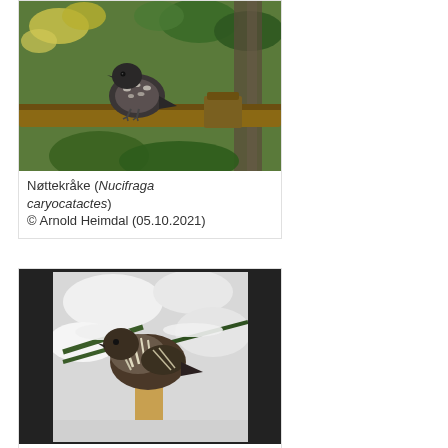[Figure (photo): Photograph of a Nutcracker bird (Nøttekråke / Nucifraga caryocatactes) perched on a wooden railing with green foliage in the background]
Nøttekråke (Nucifraga caryocatactes)
© Arnold Heimdal (05.10.2021)
[Figure (photo): Photograph of a Nutcracker bird (Nøttekråke / Nucifraga caryocatactes) on a snowy branch with conifer foliage, dark background]
Nøttekråke (Nucifraga